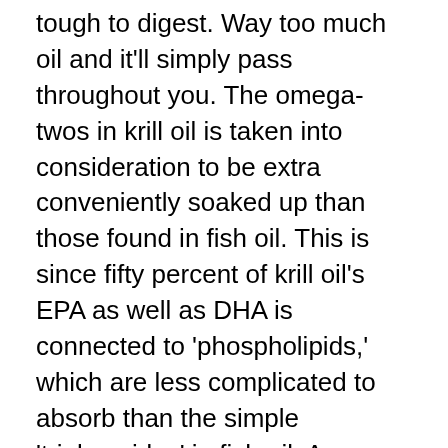tough to digest. Way too much oil and it'll simply pass throughout you. The omega-twos in krill oil is taken into consideration to be extra conveniently soaked up than those found in fish oil. This is since fifty percent of krill oil's EPA as well as DHA is connected to 'phospholipids,' which are less complicated to absorb than the simple 'triglycerides' in fish oil. An additional perk that krill oil has, is that it's thought about to be extremely steady and also without heavy metals.2.
I believe lots of people that don't get several omega-3's in their diet regimen can gain from krill oil supplements. Omega-3's are believed to sustain heart health, skin health and wellness, joint health, and also brain wellness, points which relate to many